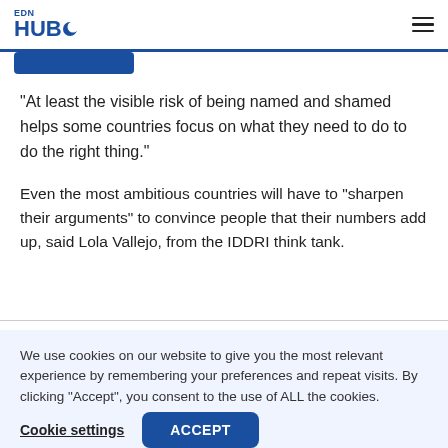edn HUB
"At least the visible risk of being named and shamed helps some countries focus on what they need to do to do the right thing."
Even the most ambitious countries will have to "sharpen their arguments" to convince people that their numbers add up, said Lola Vallejo, from the IDDRI think tank.
We use cookies on our website to give you the most relevant experience by remembering your preferences and repeat visits. By clicking “Accept”, you consent to the use of ALL the cookies.
Cookie settings  ACCEPT